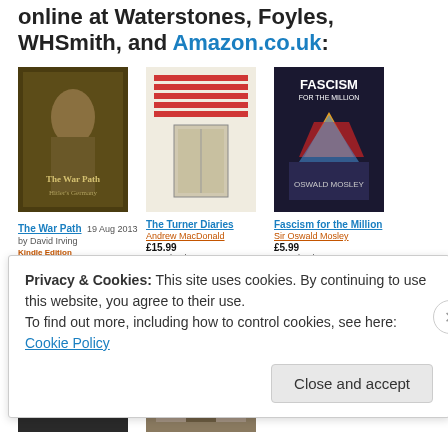online at Waterstones, Foyles, WHSmith, and Amazon.co.uk:
[Figure (screenshot): Amazon.co.uk product listings showing three books in a row: 'The War Path' by David Irving (Kindle Edition £6.41), 'The Turner Diaries' by Andrew MacDonald (£15.99 Paperback), 'Fascism for the Million' by Sir Oswald Mosley (£5.99 Paperback). A second row shows partial book covers including a book with an Auschwitz gate image and a 'W' logo book.]
Privacy & Cookies: This site uses cookies. By continuing to use this website, you agree to their use.
To find out more, including how to control cookies, see here: Cookie Policy